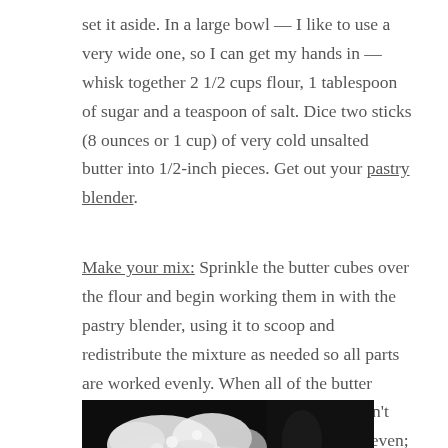set it aside. In a large bowl — I like to use a very wide one, so I can get my hands in — whisk together 2 1/2 cups flour, 1 tablespoon of sugar and a teaspoon of salt. Dice two sticks (8 ounces or 1 cup) of very cold unsalted butter into 1/2-inch pieces. Get out your pastry blender.
Make your mix: Sprinkle the butter cubes over the flour and begin working them in with the pastry blender, using it to scoop and redistribute the mixture as needed so all parts are worked evenly. When all of the butter pieces are the size of tiny peas — this won't take long — stop. Yes, even if it looks uneven; you'll thank me later.
[Figure (photo): Photo of flour and butter mixture being blended, showing white chunky mixture against a dark background]